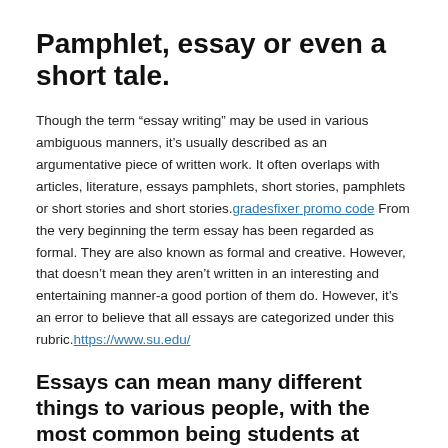Pamphlet, essay or even a short tale.
Though the term “essay writing” may be used in various ambiguous manners, it’s usually described as an argumentative piece of written work. It often overlaps with articles, literature, essays pamphlets, short stories, pamphlets or short stories and short stories. gradesfixer promo code From the very beginning the term essay has been regarded as formal. They are also known as formal and creative. However, that doesn’t mean they aren’t written in an interesting and entertaining manner-a good portion of them do. However, it’s an error to believe that all essays are categorized under this rubric. https://www.su.edu/
Essays can mean many different things to various people, with the most common being students at universities who need to write a huge essay for their course of